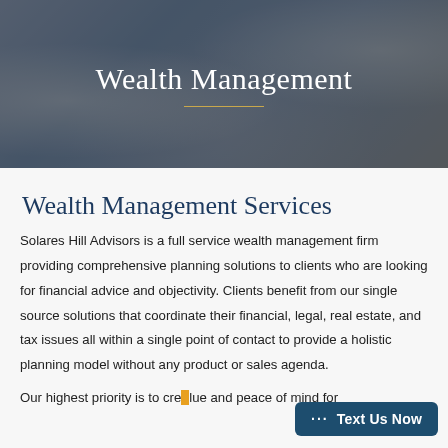[Figure (photo): Hero banner photo showing hands writing/working at a desk with a piggy bank, overlaid with dark tint]
Wealth Management
Wealth Management Services
Solares Hill Advisors is a full service wealth management firm providing comprehensive planning solutions to clients who are looking for financial advice and objectivity. Clients benefit from our single source solutions that coordinate their financial, legal, real estate, and tax issues all within a single point of contact to provide a holistic planning model without any product or sales agenda.
Our highest priority is to create value and peace of mind for